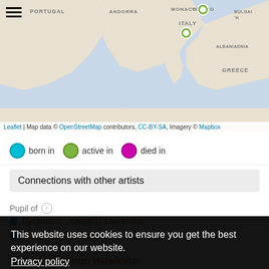[Figure (map): Map of Europe showing Mediterranean region with country labels: MONACO, ANDORRA, ITALY, PORTUGAL, GREECE, ALBANIA, BULGARIA. Green and teal map markers visible on Italy area.]
Leaflet | Map data © OpenStreetMap contributors, CC-BY-SA, Imagery © Mapbox
born in   active in   died in
Connections with other artists
Pupil of ℹ
Dyckmans, Josephus Laurentius
Piloty, Karl Theodor
This website uses cookies to ensure you get the best experience on our website.
Privacy policy
Ok
Eisenstein, Sergei Mikhailovich